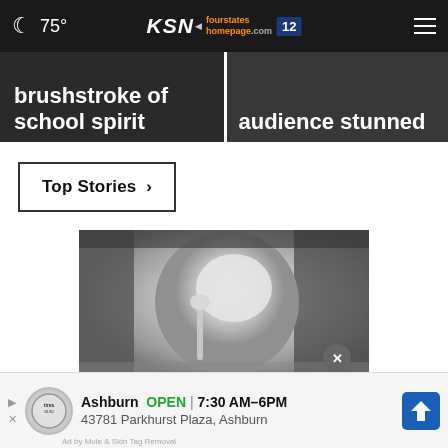75° | KSN fourstates homepage .com 12
brushstroke of school spirit
audience stunned
Top Stories ›
[Figure (photo): Black and white photo of a woman applying a facial mask with a brush]
Ashburn  OPEN  7:30 AM–6PM  43781 Parkhurst Plaza, Ashburn
Ad by Mole & Skin Tag Removal